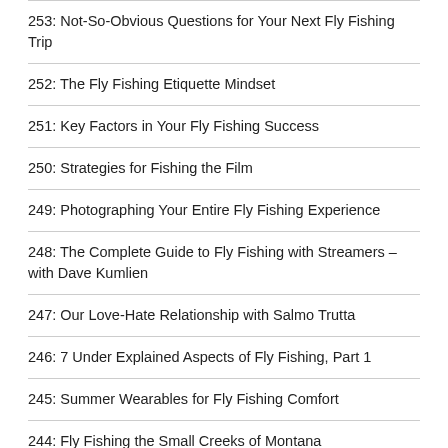253: Not-So-Obvious Questions for Your Next Fly Fishing Trip
252: The Fly Fishing Etiquette Mindset
251: Key Factors in Your Fly Fishing Success
250: Strategies for Fishing the Film
249: Photographing Your Entire Fly Fishing Experience
248: The Complete Guide to Fly Fishing with Streamers – with Dave Kumlien
247: Our Love-Hate Relationship with Salmo Trutta
246: 7 Under Explained Aspects of Fly Fishing, Part 1
245: Summer Wearables for Fly Fishing Comfort
244: Fly Fishing the Small Creeks of Montana